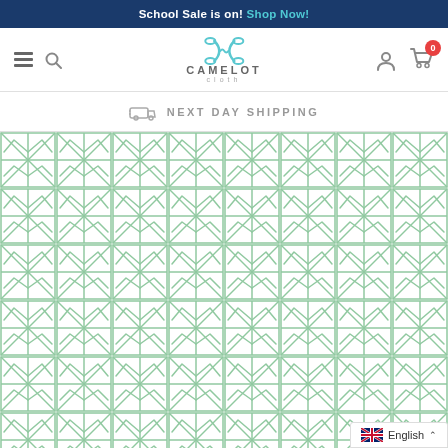School Sale is on! Shop Now!
[Figure (logo): Camelot Cloth logo with scissors icon, hamburger menu, search icon, user icon, and cart with badge showing 0]
NEXT DAY SHIPPING
[Figure (illustration): Repeating geometric pattern of green triangles and chevrons on white background — fabric swatch from Camelot Cloth]
English